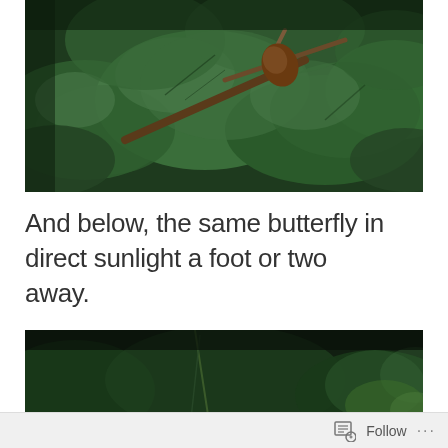[Figure (photo): Close-up dark photograph of green leaves with branches, appearing to be dense foliage with a butterfly hidden among the leaves]
And below, the same butterfly in direct sunlight a foot or two away.
[Figure (photo): Dark close-up photograph of green foliage with thin branches/stems visible, similar plant material in darker lighting]
Follow ...